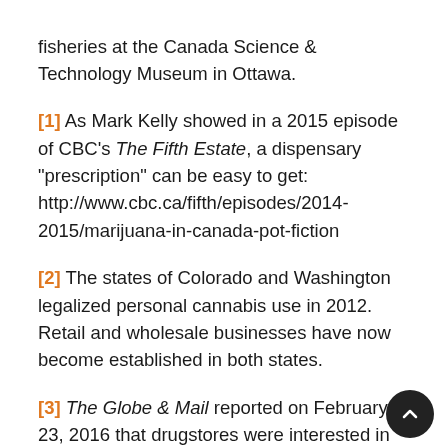fisheries at the Canada Science & Technology Museum in Ottawa.
[1] As Mark Kelly showed in a 2015 episode of CBC’s The Fifth Estate, a dispensary “prescription” can be easy to get: http://www.cbc.ca/fifth/episodes/2014-2015/marijuana-in-canada-pot-fiction
[2] The states of Colorado and Washington legalized personal cannabis use in 2012. Retail and wholesale businesses have now become established in both states.
[3] The Globe & Mail reported on February 23, 2016 that drugstores were interested in selling canna... CBC’s 22 Minutes then considered the consequences.